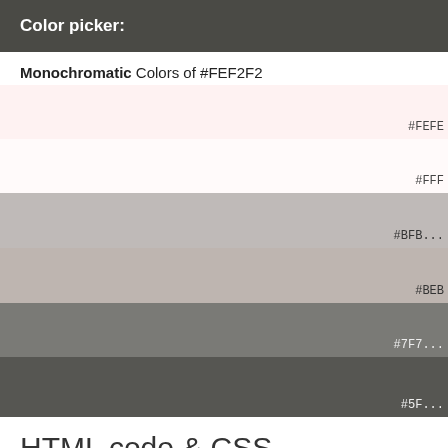Color picker:
Monochromatic Colors of #FEF2F2
[Figure (infographic): Color swatches showing monochromatic variations of #FEF2F2: #FEF2F2 (near white pinkish), #FFFAFA (white), #BFBA (medium gray-beige), #BEB (warm gray), #7F7F (medium dark gray), #5F (dark gray)]
HTML code & CSS
color css
background-col